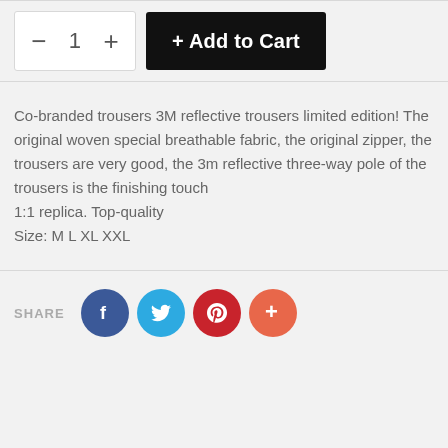[Figure (other): E-commerce product page section showing quantity selector and Add to Cart button, product description text, and social share icons (Facebook, Twitter, Pinterest, More)]
Co-branded trousers 3M reflective trousers limited edition! The original woven special breathable fabric, the original zipper, the trousers are very good, the 3m reflective three-way pole of the trousers is the finishing touch
1:1 replica. Top-quality
Size: M L XL XXL